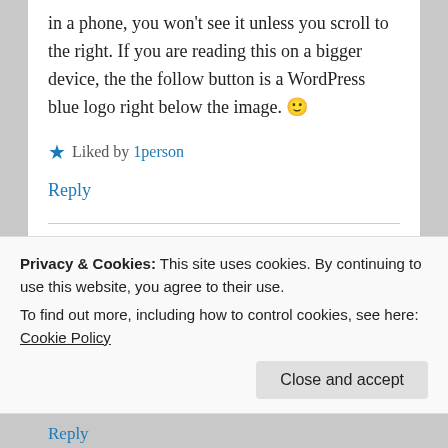in a phone, you won't see it unless you scroll to the right. If you are reading this on a bigger device, the the follow button is a WordPress blue logo right below the image. 🙂
★ Liked by 1person
Reply
pakpearlfauzia
Privacy & Cookies: This site uses cookies. By continuing to use this website, you agree to their use.
To find out more, including how to control cookies, see here: Cookie Policy
Close and accept
Reply